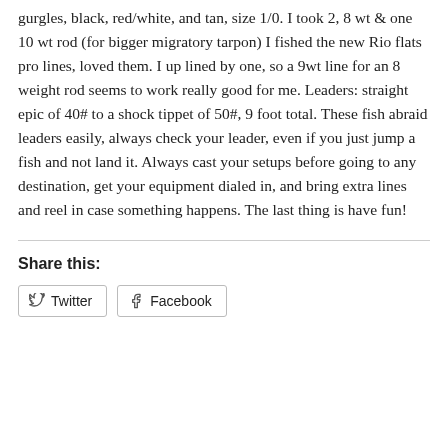gurgles, black, red/white, and tan, size 1/0. I took 2, 8 wt & one 10 wt rod (for bigger migratory tarpon) I fished the new Rio flats pro lines, loved them. I up lined by one, so a 9wt line for an 8 weight rod seems to work really good for me. Leaders: straight epic of 40# to a shock tippet of 50#, 9 foot total. These fish abraid leaders easily, always check your leader, even if you just jump a fish and not land it. Always cast your setups before going to any destination, get your equipment dialed in, and bring extra lines and reel in case something happens. The last thing is have fun!
Share this:
Twitter  Facebook